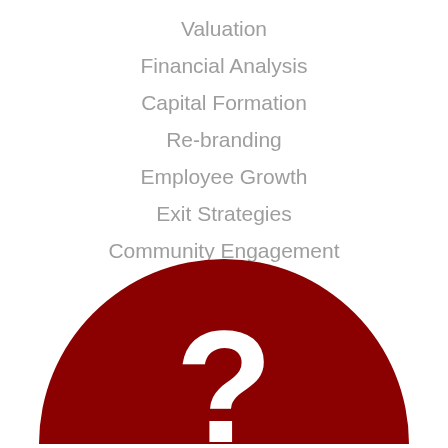Valuation
Financial Analysis
Capital Formation
Re-branding
Employee Growth
Exit Strategies
Community Engagement
[Figure (illustration): Large dark red circle with a white question mark, partially visible at the bottom of the page]